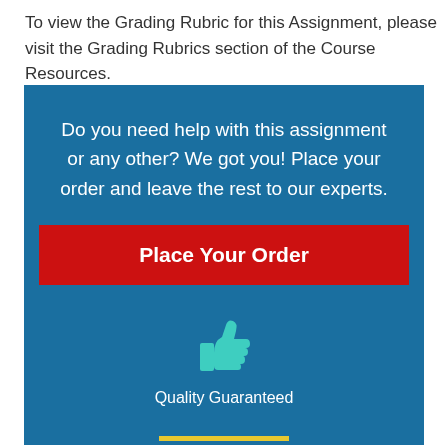To view the Grading Rubric for this Assignment, please visit the Grading Rubrics section of the Course Resources.
[Figure (infographic): Blue promotional box with text 'Do you need help with this assignment or any other? We got you! Place your order and leave the rest to our experts.', a red 'Place Your Order' button, a teal thumbs up icon, the text 'Quality Guaranteed', and a yellow horizontal line at the bottom.]